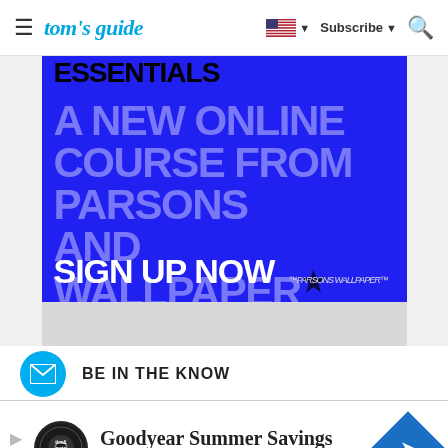tom's guide — Subscribe
[Figure (photo): Blue advertisement for Parsons and Wallpaper online course — ESSENTIALS, A NEW ONLINE COURSE FROM PARSONS AND WALLPAPER*, SIGN UP NOW]
BE IN THE KNOW
[Figure (infographic): Goodyear Summer Savings ad — Virginia Tire & Auto of Ashburn]